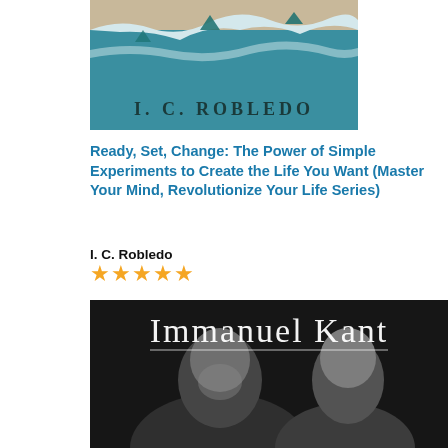[Figure (illustration): Book cover for 'I. C. Robledo' showing ocean waves with shark fins on a beige background, with author name 'I. C. ROBLEDO' in large serif text]
Ready, Set, Change: The Power of Simple Experiments to Create the Life You Want (Master Your Mind, Revolutionize Your Life Series)
I. C. Robledo
★★★★★
[Figure (illustration): Book cover for 'Immanuel Kant' showing a grayscale engraving of an elderly bearded man leaning toward a young woman, with 'Immanuel Kant' written in white serif text at the top]